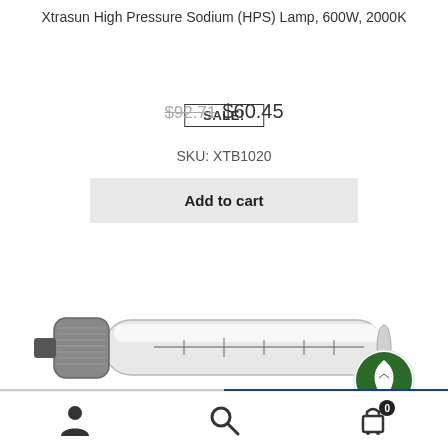Xtrasun High Pressure Sodium (HPS) Lamp, 600W, 2000K
SALE!
$92.71  $60.45
SKU: XTB1020
Add to cart
[Figure (photo): HPS lamp (High Pressure Sodium) tubular bulb with green leaf eco logo badge overlay]
Ushio Super HPS (High Pressure Sodium) Lamp, 600W